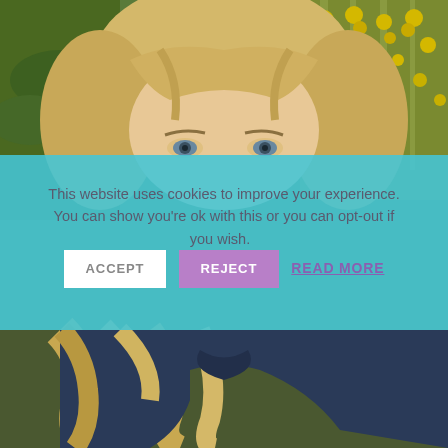[Figure (photo): Portrait photo of a blonde woman with wavy hair, wearing a dark navy jacket, photographed outdoors with yellow wildflowers and green foliage in the background. The photo is split by a cookie consent overlay in the middle, showing the upper portion (eyes and top of head) above the overlay and the lower portion (hair and jacket) below.]
This website uses cookies to improve your experience. You can show you're ok with this or you can opt-out if you wish. ACCEPT REJECT READ MORE